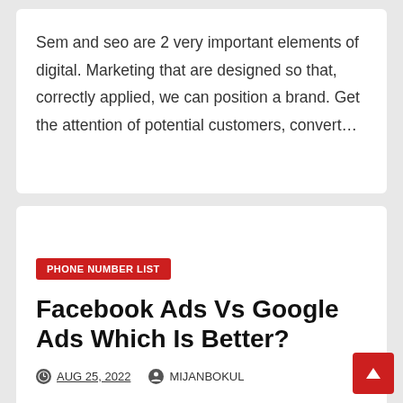Sem and seo are 2 very important elements of digital. Marketing that are designed so that, correctly applied, we can position a brand. Get the attention of potential customers, convert…
PHONE NUMBER LIST
Facebook Ads Vs Google Ads Which Is Better?
AUG 25, 2022   MIJANBOKUL
Have you ever wondered if it is better to use Google Ads or Facebook Ads? The reality is that both are